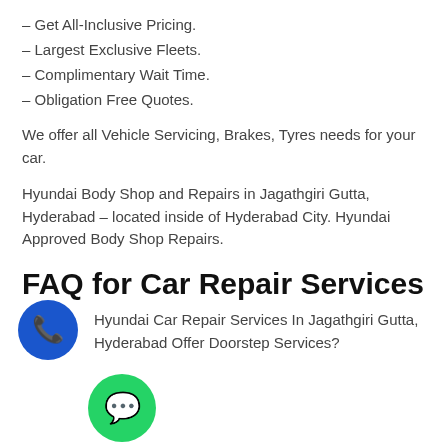– Get All-Inclusive Pricing.
– Largest Exclusive Fleets.
– Complimentary Wait Time.
– Obligation Free Quotes.
We offer all Vehicle Servicing, Brakes, Tyres needs for your car.
Hyundai Body Shop and Repairs in Jagathgiri Gutta, Hyderabad – located inside of Hyderabad City. Hyundai Approved Body Shop Repairs.
FAQ for Car Repair Services
Hyundai Car Repair Services In Jagathgiri Gutta, Hyderabad Offer Doorstep Services?